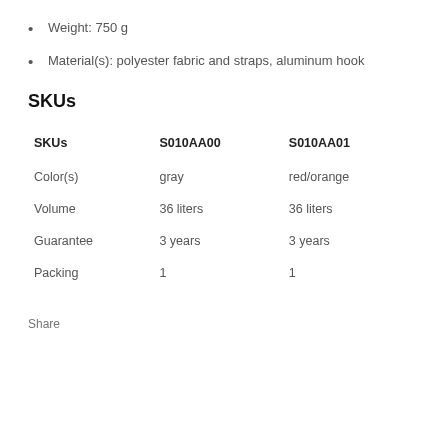Weight: 750 g
Material(s): polyester fabric and straps, aluminum hook
SKUs
| SKUs | S010AA00 | S010AA01 |
| --- | --- | --- |
| Color(s) | gray | red/orange |
| Volume | 36 liters | 36 liters |
| Guarantee | 3 years | 3 years |
| Packing | 1 | 1 |
Share